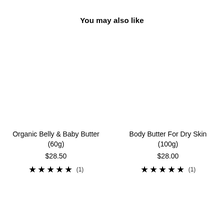You may also like
Organic Belly & Baby Butter (60g)
$28.50
★★★★★ (1)
Body Butter For Dry Skin (100g)
$28.00
★★★★★ (1)